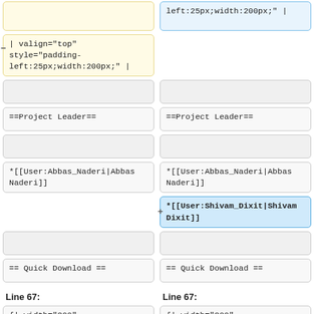left:25px;width:200px;" |
| valign="top" style="padding-left:25px;width:200px;" |
==Project Leader==
==Project Leader==
*[[User:Abbas_Naderi|Abbas Naderi]]
*[[User:Abbas_Naderi|Abbas Naderi]]
*[[User:Shivam_Dixit|Shivam Dixit]]
== Quick Download ==
== Quick Download ==
Line 67:
Line 67:
{| width="200"
cellpadding="2"
{| width="200"
cellpadding="2"